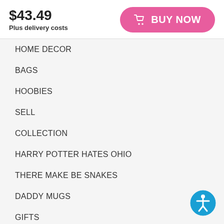$43.49
Plus delivery costs
[Figure (other): Pink rounded BUY NOW button with shopping cart icon]
HOME DECOR
BAGS
HOOBIES
SELL
COLLECTION
HARRY POTTER HATES OHIO
THERE MAKE BE SNAKES
DADDY MUGS
GIFTS
CAMPAIGNS
[Figure (other): Blue circular accessibility icon with human figure symbol]